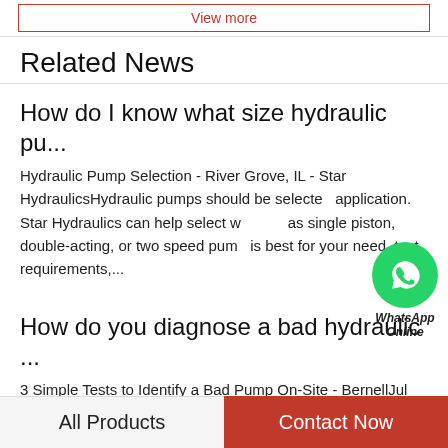View more
Related News
How do I know what size hydraulic pu...
Hydraulic Pump Selection - River Grove, IL - Star HydraulicsHydraulic pumps should be selected for application. Star Hydraulics can help select whether single piston, double-acting, or two speed pump is best for your need. test requirements,...
[Figure (logo): WhatsApp Online bubble icon with green circle and phone icon, labeled WhatsApp Online]
How do you diagnose a bad hydraulic ...
3 Simple Tests to Identify a Bad Pump On-Site - BernellJul 22, 2015 — Then, the typical procedure is to unmount the hydraulic pump and take it into a shop.
All Products    Contact Now